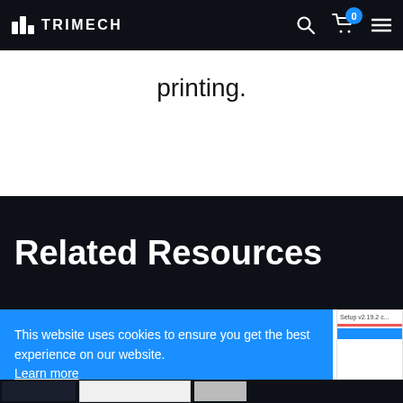TRIMECH
printing.
Related Resources
This website uses cookies to ensure you get the best experience on our website. Learn more
Allow Cookies